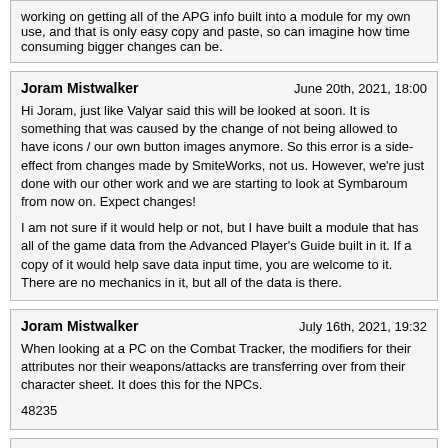working on getting all of the APG info built into a module for my own use, and that is only easy copy and paste, so can imagine how time consuming bigger changes can be.
Joram Mistwalker
June 20th, 2021, 18:00
Hi Joram, just like Valyar said this will be looked at soon. It is something that was caused by the change of not being allowed to have icons / our own button images anymore. So this error is a side-effect from changes made by SmiteWorks, not us. However, we're just done with our other work and we are starting to look at Symbaroum from now on. Expect changes!

I am not sure if it would help or not, but I have built a module that has all of the game data from the Advanced Player's Guide built in it. If a copy of it would help save data input time, you are welcome to it. There are no mechanics in it, but all of the data is there.
Joram Mistwalker
July 16th, 2021, 19:32
When looking at a PC on the Combat Tracker, the modifiers for their attributes nor their weapons/attacks are transferring over from their character sheet. It does this for the NPCs.

48235
Valyar
July 16th, 2021, 19:42
When looking at a PC on the Combat Tracker, the modifiers for their attributes nor their weapons/attacks are transferring over from their character sheet. It does this for the NPCs.

48235
Thanks for the report. This is fixed as part of our work for 2.0.